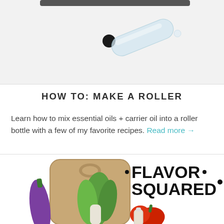[Figure (photo): Photo of a roller bottle and black cap on a white/light gray background, partially visible at top of page]
HOW TO: MAKE A ROLLER
Learn how to mix essential oils + carrier oil into a roller bottle with a few of my favorite recipes. Read more →
[Figure (photo): Illustration of vegetables including eggplant, bok choy, and red pepper on a wooden cutting board, with a bottle in front. Text reads FLAVOR SQUARED with decorative dots on either side.]